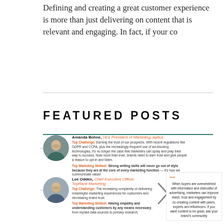Defining and creating a great customer experience is more than just delivering on content that is relevant and engaging. In fact, if your co
FEATURED POSTS
[Figure (infographic): Featured posts section with two expert profile cards. First: Amanda Bohne, Vice President of Marketing, Apttus. Second: Lee Odden, Chief Executive Officer, TopRank Marketing. Each card contains a circular avatar photo, name, title, Top Challenge text, and Top Marketing Skillset text. A pull quote box appears on the right side with an orange arrow.]
Amanda Bohne, Vice President of Marketing, Apttus
Top Challenge: Earning the trust of our prospects. With recent regulations like GDPR and CCPA, plus the increasingly frequent use of ad-blocking technologies, it's no longer the case that marketers can spray and pray their way to success. Now more than ever, brands need to earn trust and give people a reason to opt-in and listen.
Top Marketing Skillset: Strong writing skills will never go out of style because they are at the core of every marketing function — it's how we communicate value!
Lee Odden, Chief Executive Officer, TopRank Marketing
Top Challenge: The increasing complexity of delivering meaningful marketing experiences for customers and decreasing brand trust.
Top Marketing Skillset: Having empathy and understanding customers by any means necessary, from myriad data sources to primary research.
When buyers are overwhelmed with information and distrustful of advertising, marketers can improve reach, trust and engagement by co-creating content with peers, experts and influencers. If you want content to be great, ask your brand's community